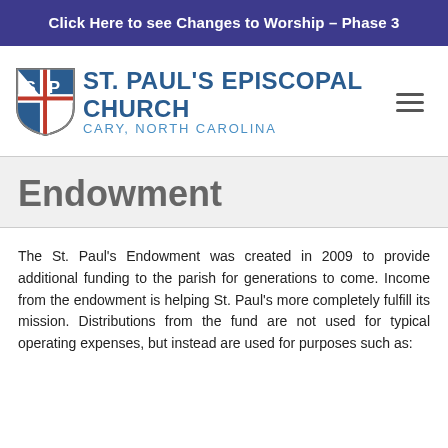Click Here to see Changes to Worship – Phase 3
[Figure (logo): St. Paul's Episcopal Church logo: shield with SP letters and cross, beside text 'ST. PAUL'S EPISCOPAL CHURCH' and 'CARY, NORTH CAROLINA']
Endowment
The St. Paul's Endowment was created in 2009 to provide additional funding to the parish for generations to come. Income from the endowment is helping St. Paul's more completely fulfill its mission. Distributions from the fund are not used for typical operating expenses, but instead are used for purposes such as: